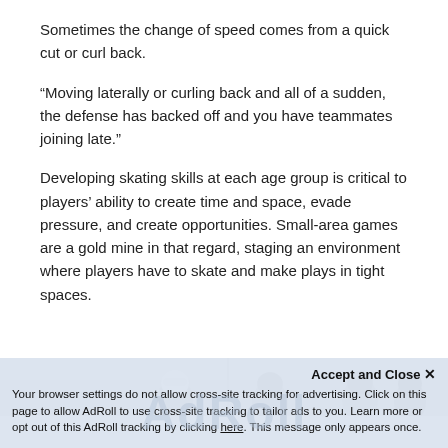Sometimes the change of speed comes from a quick cut or curl back.
“Moving laterally or curling back and all of a sudden, the defense has backed off and you have teammates joining late.”
Developing skating skills at each age group is critical to players’ ability to create time and space, evade pressure, and create opportunities. Small-area games are a gold mine in that regard, staging an environment where players have to skate and make plays in tight spaces.
[Figure (photo): Partial view of hockey players on ice, showing helmeted figures from roughly chest-up, partially cut off at bottom of page.]
Accept and Close ×
Your browser settings do not allow cross-site tracking for advertising. Click on this page to allow AdRoll to use cross-site tracking to tailor ads to you. Learn more or opt out of this AdRoll tracking by clicking here. This message only appears once.